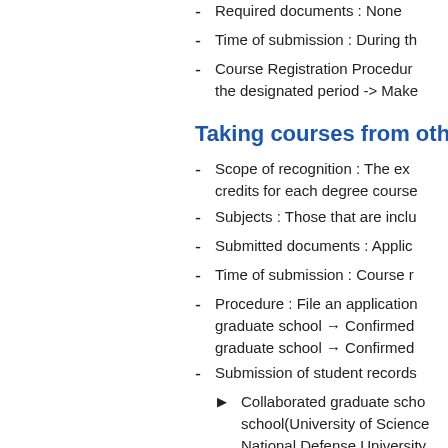Required documents : None
Time of submission : During th...
Course Registration Procedure... the designated period -> Make...
Taking courses from othe...
Scope of recognition : The ex... credits for each degree course...
Subjects : Those that are inclu...
Submitted documents : Applic...
Time of submission : Course r...
Procedure : File an application... graduate school → Confirmed... graduate school → Confirmed...
Submission of student records...
▶ Collaborated graduate scho... school(University of Science... National Defense University... University, Yonsei University...
▶ Credit exchange Exchange credits are includ... Acquired grades are record... grades are calculated base...
Credit recognition from th...